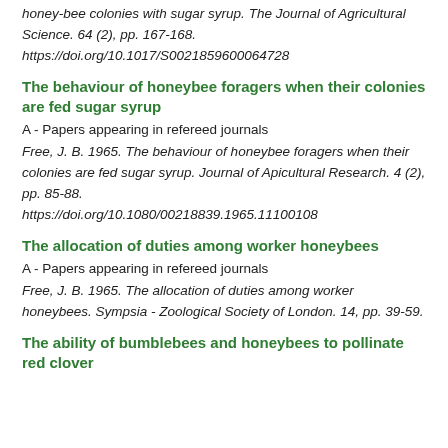honey-bee colonies with sugar syrup. The Journal of Agricultural Science. 64 (2), pp. 167-168. https://doi.org/10.1017/S0021859600064728
The behaviour of honeybee foragers when their colonies are fed sugar syrup
A - Papers appearing in refereed journals
Free, J. B. 1965. The behaviour of honeybee foragers when their colonies are fed sugar syrup. Journal of Apicultural Research. 4 (2), pp. 85-88. https://doi.org/10.1080/00218839.1965.11100108
The allocation of duties among worker honeybees
A - Papers appearing in refereed journals
Free, J. B. 1965. The allocation of duties among worker honeybees. Sympsia - Zoological Society of London. 14, pp. 39-59.
The ability of bumblebees and honeybees to pollinate red clover